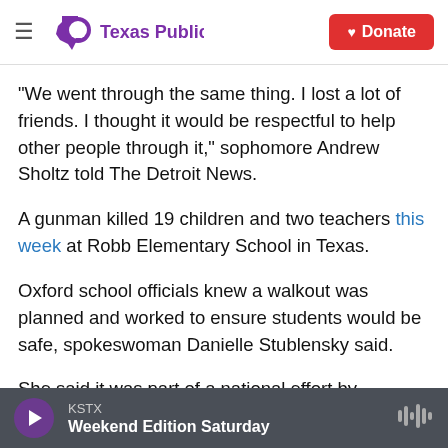Texas Public Radio — Donate
"We went through the same thing. I lost a lot of friends. I thought it would be respectful to help other people through it," sophomore Andrew Sholtz told The Detroit News.
A gunman killed 19 children and two teachers this week at Robb Elementary School in Texas.
Oxford school officials knew a walkout was planned and worked to ensure students would be safe, spokeswoman Danielle Stublensky said.
She said it was part of a national effort by Students
KSTX — Weekend Edition Saturday